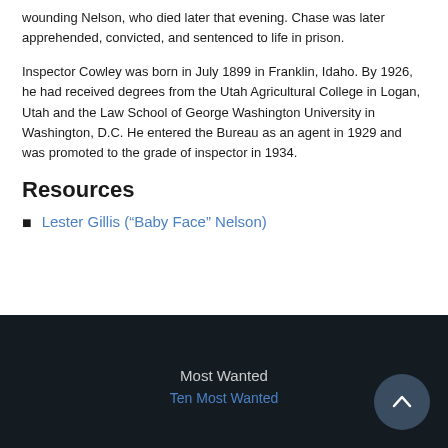Gillis opened fire. Both men were shot, but not before severely wounding Nelson, who died later that evening. Chase was later apprehended, convicted, and sentenced to life in prison.
Inspector Cowley was born in July 1899 in Franklin, Idaho. By 1926, he had received degrees from the Utah Agricultural College in Logan, Utah and the Law School of George Washington University in Washington, D.C. He entered the Bureau as an agent in 1929 and was promoted to the grade of inspector in 1934.
Resources
Lester Gillis (“Baby Face” Nelson)
Most Wanted
Ten Most Wanted